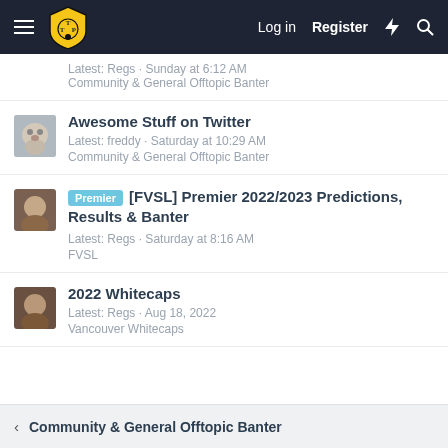TTP Community Forum - Log in Register
Latest: Regs · Sunday at 6:12 AM
Community & General Offtopic Banter
Awesome Stuff on Twitter
Latest: freddy · Saturday at 10:29 AM
Community & General Offtopic Banter
[Premier] [FVSL] Premier 2022/2023 Predictions, Results & Banter
Latest: Regs · Saturday at 8:16 AM
FVSL
2022 Whitecaps
Latest: Regs · Aug 18, 2022
Vancouver Whitecaps
Community & General Offtopic Banter